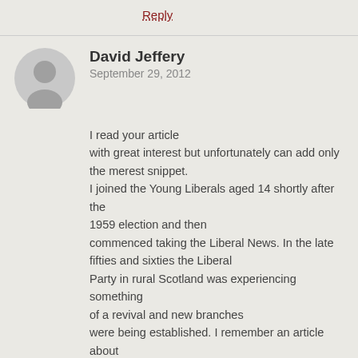Reply
David Jeffery
September 29, 2012
I read your article with great interest but unfortunately can add only the merest snippet. I joined the Young Liberals aged 14 shortly after the 1959 election and then commenced taking the Liberal News. In the late fifties and sixties the Liberal Party in rural Scotland was experiencing something of a revival and new branches were being established. I remember an article about a constituency association in Scotland and a meeting – perhaps an AGM or perhaps to initiate a new association. For some reason I think it was Kinross and West Perthshire but I cd be wrong. The article recorded that the Land Song was sung to the meeting at the end by a couple of those present. Alas I can